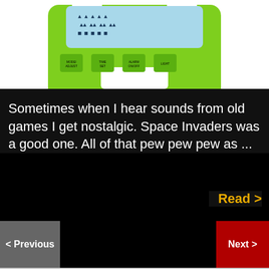[Figure (photo): A green Space Invaders themed alarm clock with a blue LCD display showing Space Invaders alien figures, and four green buttons labeled MODE/ADJUST, TIME SET, ALARM ON/OFF, and LIGHT on a white background.]
Sometimes when I hear sounds from old games I get nostalgic. Space Invaders was a good one. All of that pew pew pew as ...
Read >
< Previous
Next >
Ampion Renewable Energy CDG for Developers—Simplified APPLY NOW